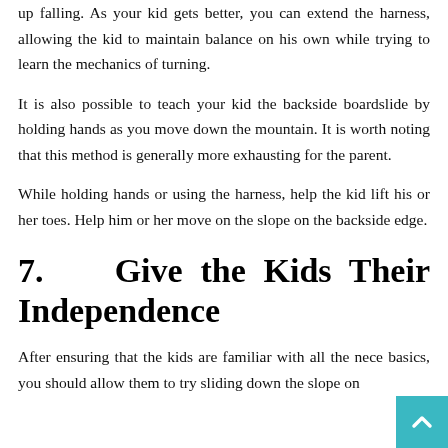up falling. As your kid gets better, you can extend the harness, allowing the kid to maintain balance on his own while trying to learn the mechanics of turning.
It is also possible to teach your kid the backside boardslide by holding hands as you move down the mountain. It is worth noting that this method is generally more exhausting for the parent.
While holding hands or using the harness, help the kid lift his or her toes. Help him or her move on the slope on the backside edge.
7.   Give the Kids Their Independence
After ensuring that the kids are familiar with all the nece basics, you should allow them to try sliding down the slope on